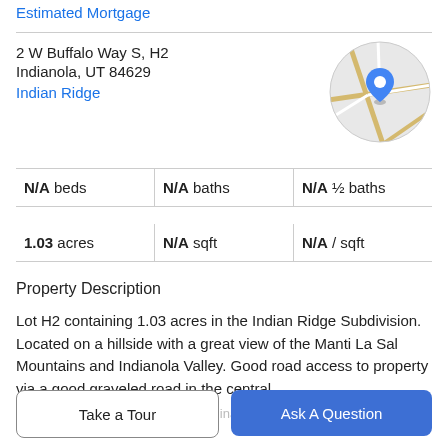Estimated Mortgage
2 W Buffalo Way S, H2
Indianola, UT 84629
Indian Ridge
[Figure (map): Circular cropped map with a blue location pin marker showing the property location on a road map with yellow/tan roads and gray background]
N/A beds | N/A baths | N/A ½ baths
1.03 acres | N/A sqft | N/A / sqft
Property Description
Lot H2 containing 1.03 acres in the Indian Ridge Subdivision. Located on a hillside with a great view of the Manti La Sal Mountains and Indianola Valley. Good road access to property via a good graveled road in the central
area of the subdivision.  GPS Coordinates: 39.45.55.75. N
Take a Tour
Ask A Question